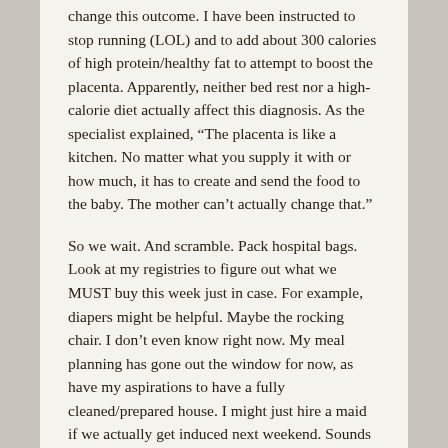change this outcome. I have been instructed to stop running (LOL) and to add about 300 calories of high protein/healthy fat to attempt to boost the placenta. Apparently, neither bed rest nor a high-calorie diet actually affect this diagnosis. As the specialist explained, “The placenta is like a kitchen. No matter what you supply it with or how much, it has to create and send the food to the baby. The mother can’t actually change that.”

So we wait. And scramble. Pack hospital bags. Look at my registries to figure out what we MUST buy this week just in case. For example, diapers might be helpful. Maybe the rocking chair. I don’t even know right now. My meal planning has gone out the window for now, as have my aspirations to have a fully cleaned/prepared house. I might just hire a maid if we actually get induced next weekend. Sounds silly to